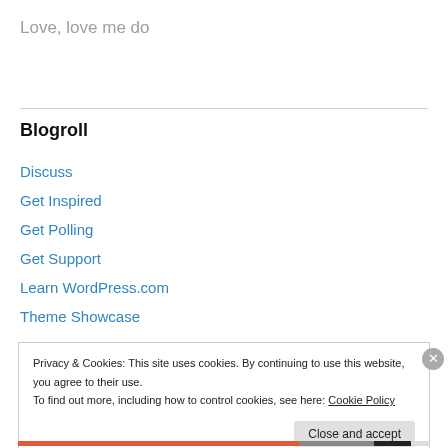Love, love me do
Blogroll
Discuss
Get Inspired
Get Polling
Get Support
Learn WordPress.com
Theme Showcase
Privacy & Cookies: This site uses cookies. By continuing to use this website, you agree to their use. To find out more, including how to control cookies, see here: Cookie Policy
Close and accept